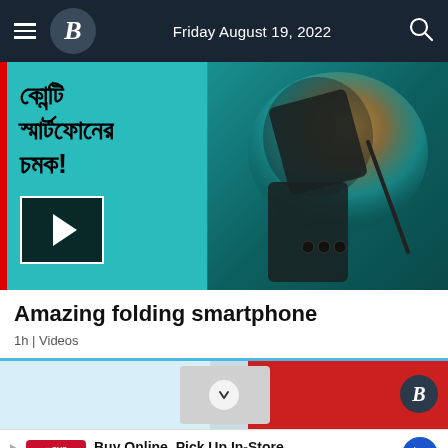Friday August 19, 2022
[Figure (screenshot): Video thumbnail showing a folding smartphone (Samsung Galaxy Z Fold) with Bengali text and a play button overlay]
Amazing folding smartphone
1h | Videos
[Figure (screenshot): Partial second article image strip with a circular logo]
Buy Online, Pick Up In-Store CVS